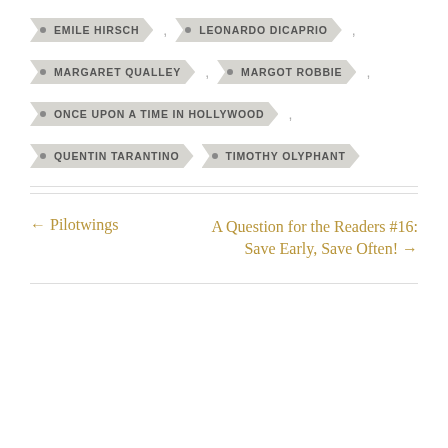EMILE HIRSCH
LEONARDO DICAPRIO
MARGARET QUALLEY
MARGOT ROBBIE
ONCE UPON A TIME IN HOLLYWOOD
QUENTIN TARANTINO
TIMOTHY OLYPHANT
← Pilotwings
A Question for the Readers #16: Save Early, Save Often! →